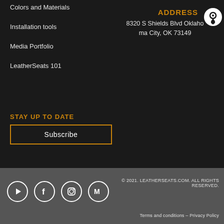Colors and Materials
Installation tools
Media Portfolio
LeatherSeats 101
ADDRESS
8320 S Shields Blvd Oklahoma City, OK 73149
STAY UP TO DATE
Subscribe
© 2021. LEATHERSEATS.COM. ALL RIGHTS RESERVED.
Terms and conditions – Privacy Policy